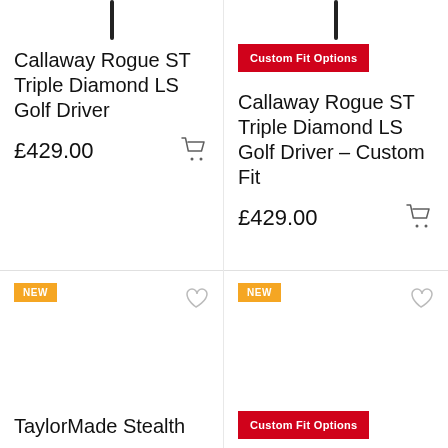[Figure (illustration): Top of a golf driver shaft, cropped, left column]
Callaway Rogue ST Triple Diamond LS Golf Driver
£429.00
[Figure (illustration): Top of a golf driver shaft, cropped, right column]
Custom Fit Options
Callaway Rogue ST Triple Diamond LS Golf Driver – Custom Fit
£429.00
NEW
NEW
TaylorMade Stealth
Custom Fit Options